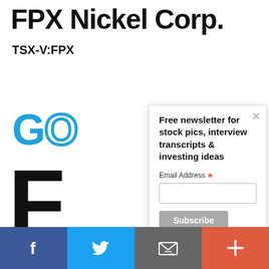FPX Nickel Corp.
TSX-V:FPX
[Figure (logo): GO logo in blue, F logo in black, GO logo in orange, TRI logo in black - sidebar partner logos]
[Figure (screenshot): Modal popup: Free newsletter for stock pics, interview transcripts & investing ideas. Email Address field with Subscribe button. Close X button in top right.]
[Figure (infographic): Bottom social sharing bar with Facebook (blue), Twitter (light blue), Email (grey), and More (red-orange) buttons]